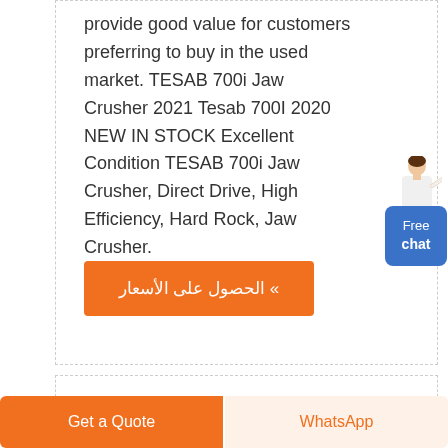provide good value for customers preferring to buy in the used market. TESAB 700i Jaw Crusher 2021 Tesab 700I 2020 NEW IN STOCK Excellent Condition TESAB 700i Jaw Crusher, Direct Drive, High Efficiency, Hard Rock, Jaw Crusher.
» الحصول على الأسعار
[Figure (illustration): Person in white jacket standing next to a blue chat widget button labeled Free chat]
Get a Quote
WhatsApp